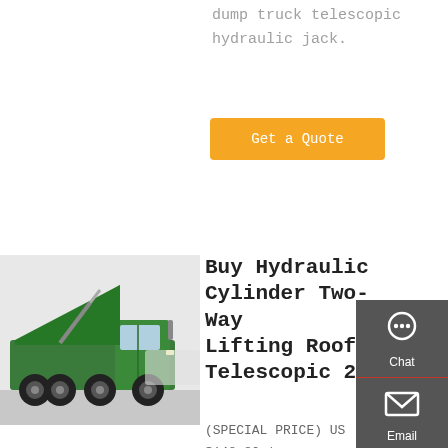dump truck telescopic hydraulic jack.
Get a Quote
[Figure (photo): Green dump truck with raised bed, side view]
Buy Hydraulic Cylinder Two-Way Lifting Roof Telescopic 2
(SPECIAL PRICE) US $148.80 | Buy Hydraulic Cylinder Two-way Lifting Roof Telescopic 2 Ton Hydraulic Oil Top Pressure Hydraulic Ram From Merchant FarmerFan